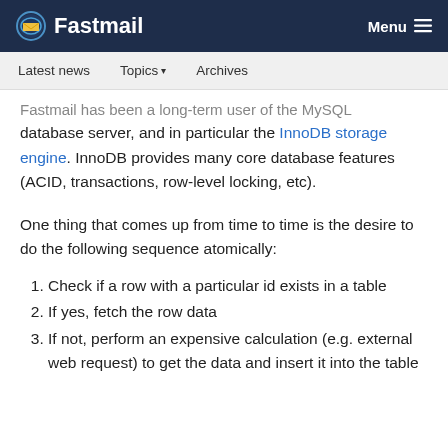Fastmail   Menu
Latest news   Topics   Archives
Fastmail has been a long-term user of the MySQL database server, and in particular the InnoDB storage engine. InnoDB provides many core database features (ACID, transactions, row-level locking, etc).
One thing that comes up from time to time is the desire to do the following sequence atomically:
1. Check if a row with a particular id exists in a table
2. If yes, fetch the row data
3. If not, perform an expensive calculation (e.g. external web request) to get the data and insert it into the table